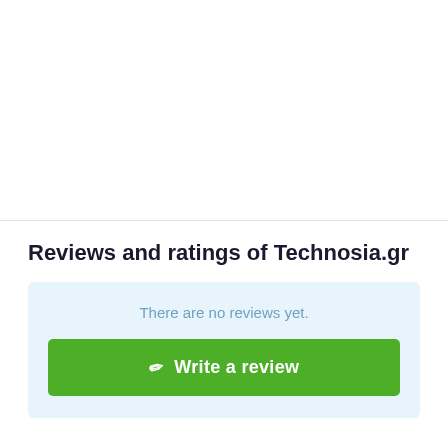Reviews and ratings of Technosia.gr
There are no reviews yet.
Write a review